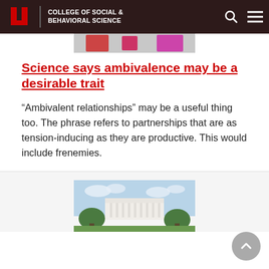COLLEGE OF SOCIAL & BEHAVIORAL SCIENCE
[Figure (photo): Partial view of a colorful image thumbnail at the top of an article card]
Science says ambivalence may be a desirable trait
“Ambivalent relationships” may be a useful thing too. The phrase refers to partnerships that are as tension-inducing as they are productive. This would include frenemies.
[Figure (photo): Photo of the White House with blue sky and green trees in the foreground]